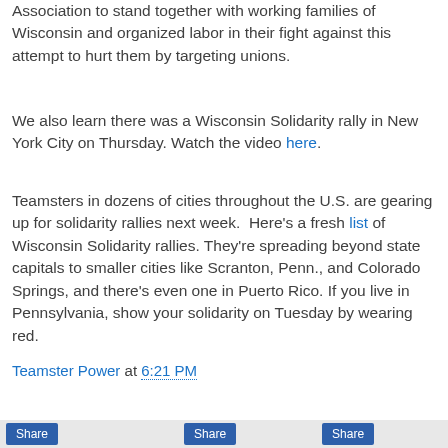Association to stand together with working families of Wisconsin and organized labor in their fight against this attempt to hurt them by targeting unions.
We also learn there was a Wisconsin Solidarity rally in New York City on Thursday. Watch the video here.
Teamsters in dozens of cities throughout the U.S. are gearing up for solidarity rallies next week.  Here's a fresh list of Wisconsin Solidarity rallies. They're spreading beyond state capitals to smaller cities like Scranton, Penn., and Colorado Springs, and there's even one in Puerto Rico. If you live in Pennsylvania, show your solidarity on Tuesday by wearing red.
Teamster Power at 6:21 PM
Share